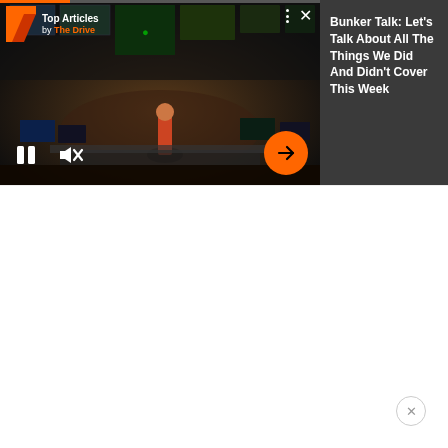[Figure (screenshot): Media player widget showing a dark broadcast control room video thumbnail with orange progress bar at top. Left side has video with pause button, mute button, and orange arrow button. Right side shows dark grey panel with article title.]
Bunker Talk: Let's Talk About All The Things We Did And Didn't Cover This Week
Top Articles by The Drive